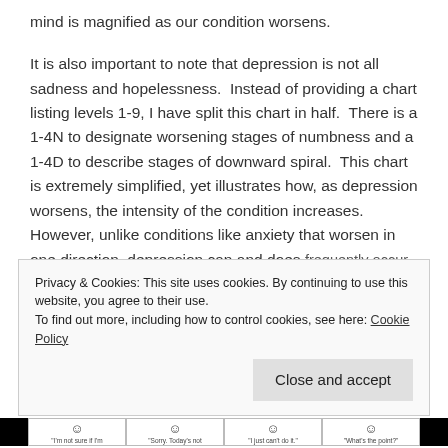mind is magnified as our condition worsens.
It is also important to note that depression is not all sadness and hopelessness.  Instead of providing a chart listing levels 1-9, I have split this chart in half.  There is a 1-4N to designate worsening stages of numbness and a 1-4D to describe stages of downward spiral.  This chart is extremely simplified, yet illustrates how, as depression worsens, the intensity of the condition increases.  However, unlike conditions like anxiety that worsen in one direction, depression can and does frequently occur in both the realms of numbness and
Privacy & Cookies: This site uses cookies. By continuing to use this website, you agree to their use.
To find out more, including how to control cookies, see here: Cookie Policy
[Close and accept]
[Figure (illustration): Bottom strip showing smiley face icons with captions: 'I'm not sure if I'm', 'Sorry. Today's not', 'I just can't do it.', 'What's the point?']